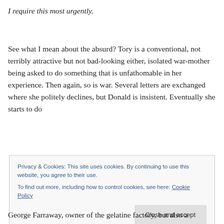I require this most urgently.
See what I mean about the absurd? Tory is a conventional, not terribly attractive but not bad-looking either, isolated war-mother being asked to do something that is unfathomable in her experience. Then again, so is war. Several letters are exchanged where she politely declines, but Donald is insistent. Eventually she starts to do
Privacy & Cookies: This site uses cookies. By continuing to use this website, you agree to their use.
To find out more, including how to control cookies, see here: Cookie Policy
George Farraway, owner of the gelatine factory, but also a